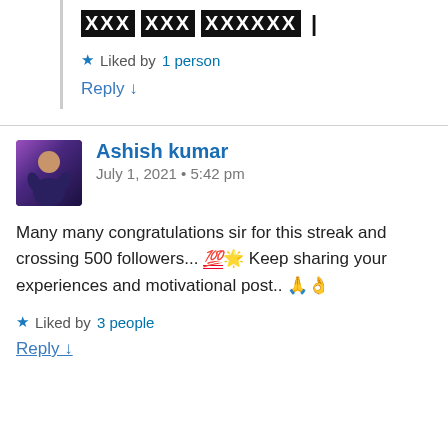XXX XXX XXXXXX |
Liked by 1 person
Reply ↓
Ashish kumar
July 1, 2021 • 5:42 pm
Many many congratulations sir for this streak and crossing 500 followers... 💯👏 Keep sharing your experiences and motivational post.. 🙏👌
Liked by 3 people
Reply ↓